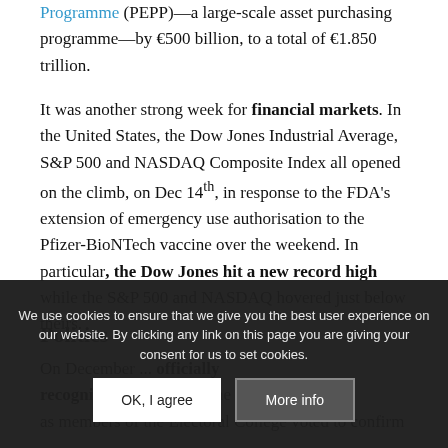Programme (PEPP)—a large-scale asset purchasing programme—by €500 billion, to a total of €1.850 trillion.
It was another strong week for financial markets. In the United States, the Dow Jones Industrial Average, S&P 500 and NASDAQ Composite Index all opened on the climb, on Dec 14th, in response to the FDA's extension of emergency use authorisation to the Pfizer-BioNTech vaccine over the weekend. In particular, the Dow Jones hit a new record high while the S&P 500 and NASDAQ hovered just below theirs.
Politics
On December ... officially recognised as ... ident of the United States as members of the Electoral College voted to confirm
We use cookies to ensure that we give you the best user experience on our website. By clicking any link on this page you are giving your consent for us to set cookies.